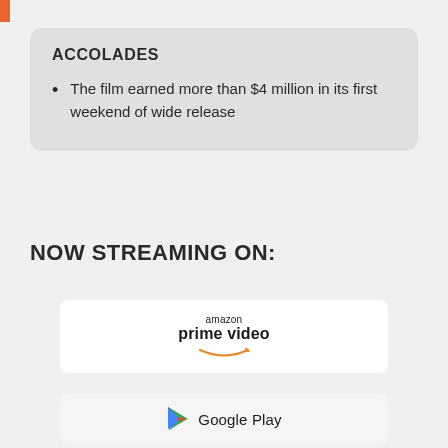ACCOLADES
The film earned more than $4 million in its first weekend of wide release
NOW STREAMING ON:
[Figure (logo): Amazon Prime Video logo with smile arrow]
[Figure (logo): Google Play logo with play button triangle]